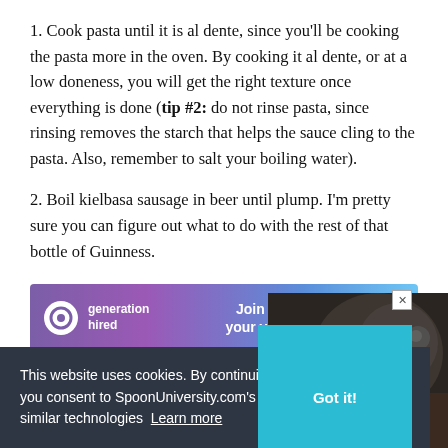1. Cook pasta until it is al dente, since you'll be cooking the pasta more in the oven. By cooking it al dente, or at a low doneness, you will get the right texture once everything is done (tip #2: do not rinse pasta, since rinsing removes the starch that helps the sauce cling to the pasta. Also, remember to salt your boiling water).
2. Boil kielbasa sausage in beer until plump. I'm pretty sure you can figure out what to do with the rest of that bottle of Guinness.
[Figure (screenshot): Advertisement banner for 'generation hired' - Join Generation Hired, your virtual career center. Purple/blue gradient background with logo on left and bold white text on right.]
This website uses cookies. By continuing to use this website, you consent to SpoonUniversity.com's usage of cookies and similar technologies Learn more
[Figure (photo): Dark photo of food in a pot or pan, partially visible at bottom right of page.]